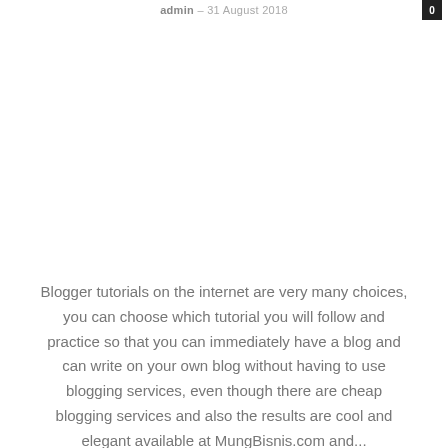admin – 31 August 2018
Blogger tutorials on the internet are very many choices, you can choose which tutorial you will follow and practice so that you can immediately have a blog and can write on your own blog without having to use blogging services, even though there are cheap blogging services and also the results are cool and elegant available at MungBisnis.com and...